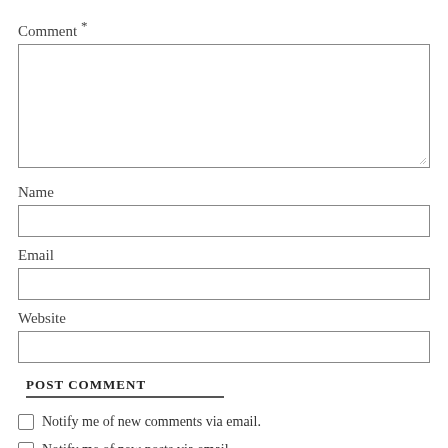Comment *
(comment textarea box)
Name
(name input box)
Email
(email input box)
Website
(website input box)
POST COMMENT
Notify me of new comments via email.
Notify me of new posts via email.